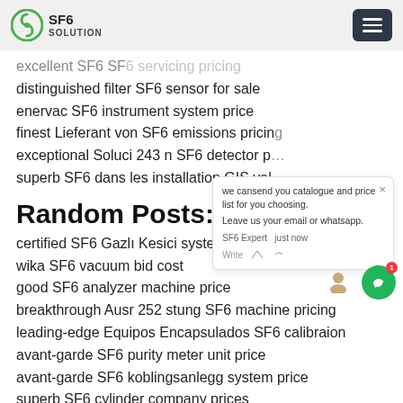SF6 SOLUTION
excellent SF6 SF6 servicing pricing
distinguished filter SF6 sensor for sale
enervac SF6 instrument system price
finest Lieferant von SF6 emissions pricing
exceptional Soluci 243 n SF6 detector p…
superb SF6 dans les installation GIS val…
Random Posts:
certified SF6 Gazlı Kesici system for sal…
wika SF6 vacuum bid cost
good SF6 analyzer machine price
breakthrough Ausr 252 stung SF6 machine pricing
leading-edge Equipos Encapsulados SF6 calibraion
avant-garde SF6 purity meter unit price
avant-garde SF6 koblingsanlegg system price
superb SF6 cylinder company prices